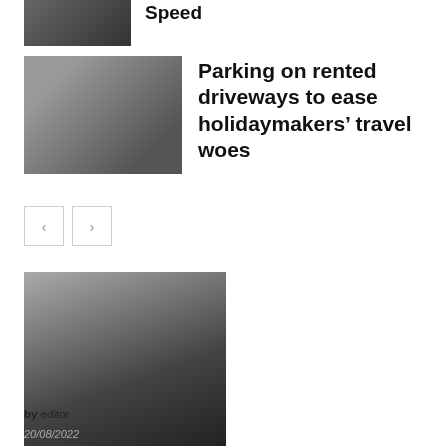[Figure (photo): Partial thumbnail image at top left, partially cut off]
Speed
[Figure (photo): Person with luggage at airport]
Parking on rented driveways to ease holidaymakers' travel woes
[Figure (other): Navigation left and right arrow buttons]
[Figure (photo): Man in suit holding red folder, standing outside near a black car]
Britain sets out roadmap for self driving vehicle usage by 2025
by editor
20/08/2022